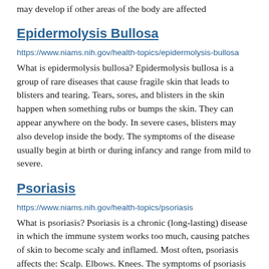may develop if other areas of the body are affected
Epidermolysis Bullosa
https://www.niams.nih.gov/health-topics/epidermolysis-bullosa
What is epidermolysis bullosa? Epidermolysis bullosa is a group of rare diseases that cause fragile skin that leads to blisters and tearing. Tears, sores, and blisters in the skin happen when something rubs or bumps the skin. They can appear anywhere on the body. In severe cases, blisters may also develop inside the body. The symptoms of the disease usually begin at birth or during infancy and range from mild to severe.
Psoriasis
https://www.niams.nih.gov/health-topics/psoriasis
What is psoriasis? Psoriasis is a chronic (long-lasting) disease in which the immune system works too much, causing patches of skin to become scaly and inflamed. Most often, psoriasis affects the: Scalp. Elbows. Knees. The symptoms of psoriasis can sometimes go through cycles, flaring for a few weeks or months followed by times when they subside (or go into remission). If you have psoriasis, you may have a higher risk of getting other serious conditions, including: Psoriatic arthritis. Heart attack or stroke. Mental health problems, such as low self-esteem, anxiety, and depression.